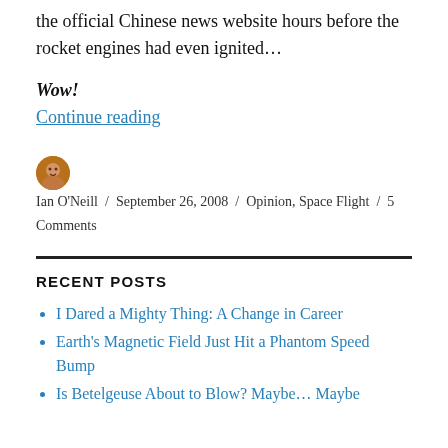the official Chinese news website hours before the rocket engines had even ignited…
Wow!
Continue reading
Ian O'Neill / September 26, 2008 / Opinion, Space Flight / 5 Comments
RECENT POSTS
I Dared a Mighty Thing: A Change in Career
Earth's Magnetic Field Just Hit a Phantom Speed Bump
Is Betelgeuse About to Blow? Maybe… Maybe